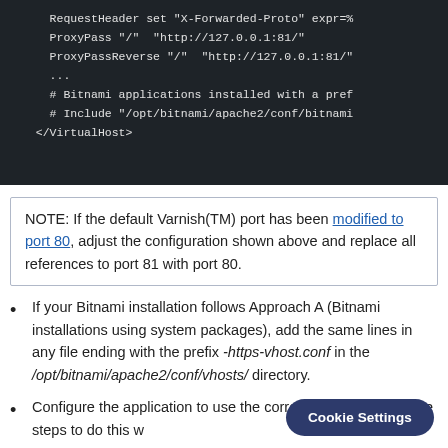[Figure (screenshot): Dark terminal/code block showing Apache VirtualHost configuration lines: RequestHeader set X-Forwarded-Proto expr=%, ProxyPass / http://127.0.0.1:81/, ProxyPassReverse / http://127.0.0.1:81/, ..., # Bitnami applications installed with a prefix, # Include /opt/bitnami/apache2/conf/bitnami, </VirtualHost>]
NOTE: If the default Varnish(TM) port has been modified to port 80, adjust the configuration shown above and replace all references to port 81 with port 80.
If your Bitnami installation follows Approach A (Bitnami installations using system packages), add the same lines in any file ending with the prefix -https-vhost.conf in the /opt/bitnami/apache2/conf/vhosts/ directory.
Configure the application to use the correct domain name. The steps to do this w